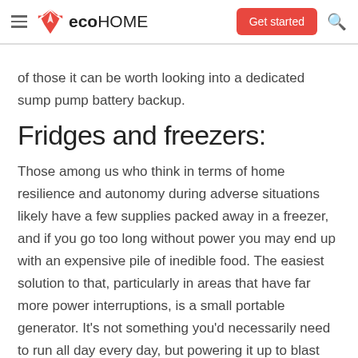eco HOME | Get started
of those it can be worth looking into a dedicated sump pump battery backup.
Fridges and freezers:
Those among us who think in terms of home resilience and autonomy during adverse situations likely have a few supplies packed away in a freezer, and if you go too long without power you may end up with an expensive pile of inedible food. The easiest solution to that, particularly in areas that have far more power interruptions, is a small portable generator. It's not something you'd necessarily need to run all day every day, but powering it up to blast some cold into your